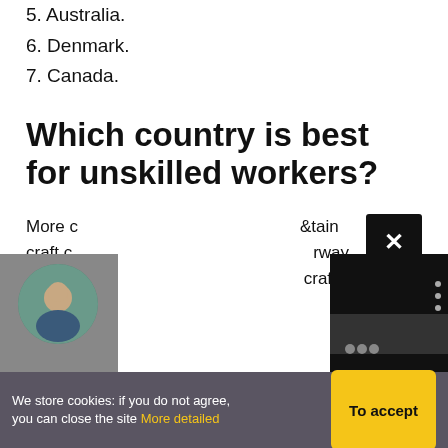5. Australia.
6. Denmark.
7. Canada.
Which country is best for unskilled workers?
More d...tain craft d...orway, ensurin...craft certific...
[Figure (photo): Profile photo of a person in a circular frame on a grey background]
[Figure (screenshot): Dark video/media player thumbnail with dots icon and small circles]
We store cookies: if you do not agree, you can close the site More detailed
To accept